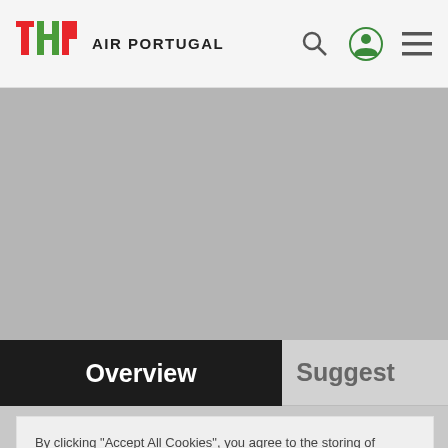TAP AIR PORTUGAL
[Figure (screenshot): Gray hero banner area for Funchal destination page]
Overview
Suggest
Funchal
Whale watching, swimming with dolphins, climbing wooded slopes or going hang gliding – these are just the beginning. Book a flight to Funchal and Enjoy the island's colours
One of the most famous places in Madeira is definitely the Monte. Here nature is all around you in private gardens and Nossa Senhora Church is also well worth a visit. Then take a ride back down by cable car or in a traditional wicker
By clicking "Accept All Cookies", you agree to the storing of cookies on your device to enhance site navigation, analyze site usage, and assist in our marketing efforts. Privacy Policy
Cookies Settings   Accept All Cookies